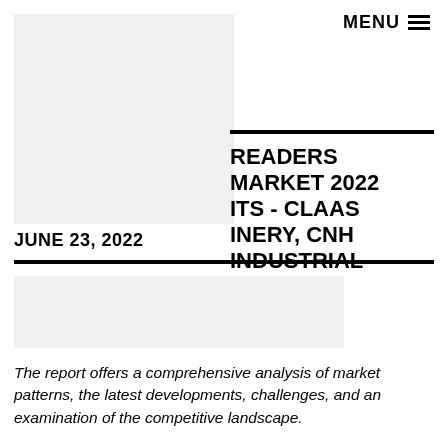MENU ☰
[Figure (other): Gray placeholder image top left]
READERS MARKET 2022 ITS - CLAAS INERY, CNH INDUSTRIAL
JUNE 23, 2022
[Figure (other): Gray placeholder image below divider]
The report offers a comprehensive analysis of market patterns, the latest developments, challenges, and an examination of the competitive landscape.